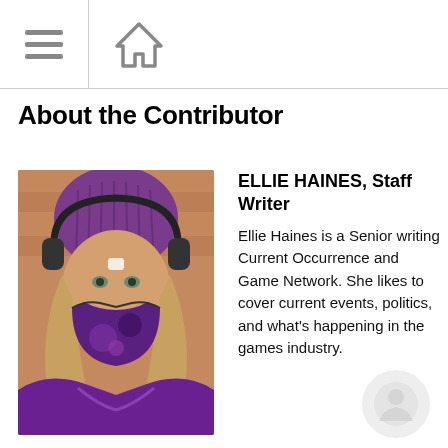About the Contributor
[Figure (photo): Photo of Ellie Haines wearing a purple beanie hat, black over-ear headphones, and a purple patterned face mask. She has long blonde hair and is standing in front of a brick wall wearing a purple jacket.]
ELLIE HAINES, Staff Writer
Ellie Haines is a Senior writing Current Occurrence and Game Network. She likes to cover current events, politics, and what's happening in the games industry.